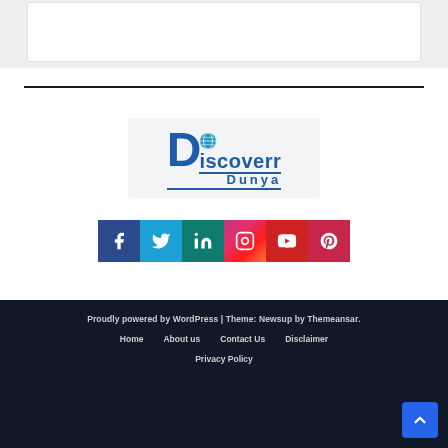[Figure (screenshot): Top section showing a white card on light gray background, cropped website content area]
[Figure (logo): Discover Dunya logo with stylized D, globe icon, and text 'iscoverDunya' in blue on light gray background]
[Figure (infographic): Row of 6 social media icons: Facebook (dark blue), Twitter (light blue), LinkedIn (teal), Instagram (gradient), YouTube (red), Pinterest (dark red)]
Proudly powered by WordPress | Theme: Newsup by Themeansar.
Home   About us   Contact Us   Disclaimer
Privacy Policy